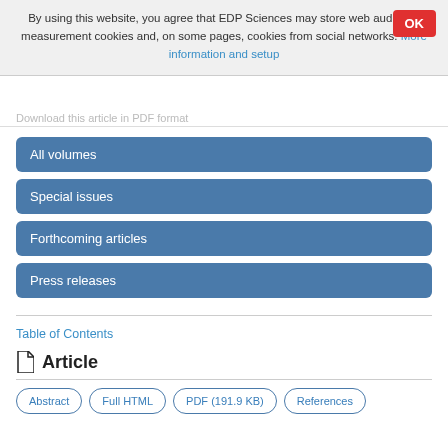By using this website, you agree that EDP Sciences may store web audience measurement cookies and, on some pages, cookies from social networks. More information and setup
Download this article in PDF format
All volumes
Special issues
Forthcoming articles
Press releases
Table of Contents
Article
Abstract | Full HTML | PDF (191.9 KB) | References